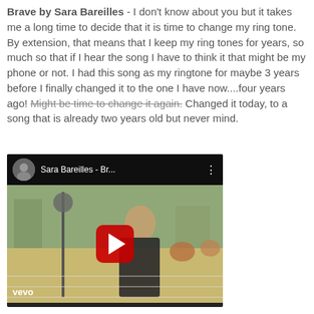Brave by Sara Bareilles - I don't know about you but it takes me a long time to decide that it is time to change my ring tone. By extension, that means that I keep my ring tones for years, so much so that if I hear the song I have to think it that might be my phone or not. I had this song as my ringtone for maybe 3 years before I finally changed it to the one I have now....four years ago! Might be time to change it again. Changed it today, to a song that is already two years old but never mind.
[Figure (screenshot): YouTube video thumbnail for Sara Bareilles - Br... showing a woman in a black dress dancing outdoors with the YouTube play button overlay and vevo watermark in the bottom left.]